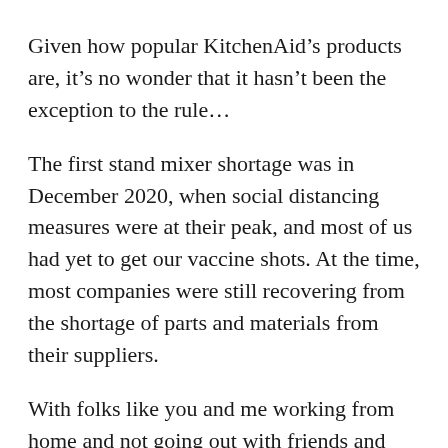Given how popular KitchenAid’s products are, it’s no wonder that it hasn’t been the exception to the rule…
The first stand mixer shortage was in December 2020, when social distancing measures were at their peak, and most of us had yet to get our vaccine shots. At the time, most companies were still recovering from the shortage of parts and materials from their suppliers.
With folks like you and me working from home and not going out with friends and family,